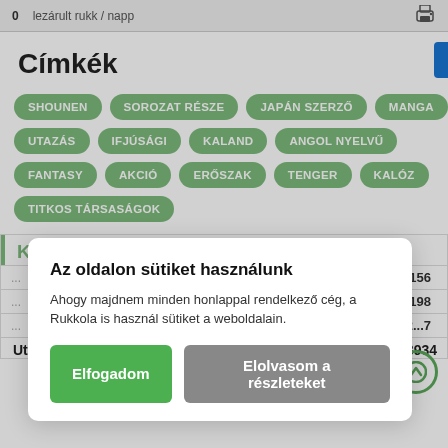0   lezárult rukk / napp
Címkék
SHOUNEN
SOROZAT RÉSZE
JAPÁN SZERZŐ
MANGA
UTAZÁS
IFJÚSÁGI
KALAND
ANGOL NYELVŰ
FANTASY
AKCIÓ
ERŐSZAK
TENGER
KALÓZ
TITKOS TÁRSASÁGOK
Kollekcók
|  |  |
| --- | --- |
|  | 44156 |
|  | 32198 |
|  | 2...7 |
Utazás   8934
Az oldalon sütiket használunk
Ahogy majdnem minden honlappal rendelkező cég, a Rukkola is használ sütiket a weboldalain.
Elfogadom   Elolvasom a részleteket